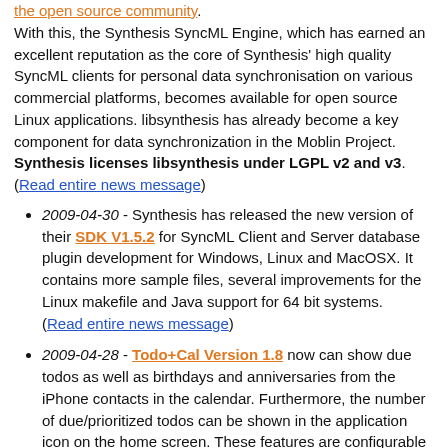the open source community. With this, the Synthesis SyncML Engine, which has earned an excellent reputation as the core of Synthesis' high quality SyncML clients for personal data synchronisation on various commercial platforms, becomes available for open source Linux applications. libsynthesis has already become a key component for data synchronization in the Moblin Project. Synthesis licenses libsynthesis under LGPL v2 and v3. (Read entire news message)
2009-04-30 - Synthesis has released the new version of their SDK V1.5.2 for SyncML Client and Server database plugin development for Windows, Linux and MacOSX. It contains more sample files, several improvements for the Linux makefile and Java support for 64 bit systems. (Read entire news message)
2009-04-28 - Todo+Cal Version 1.8 now can show due todos as well as birthdays and anniversaries from the iPhone contacts in the calendar. Furthermore, the number of due/prioritized todos can be shown in the application icon on the home screen. These features are configurable in a new preferences screen, which also allows setting some default values for creating new entries. The new version is available now on the